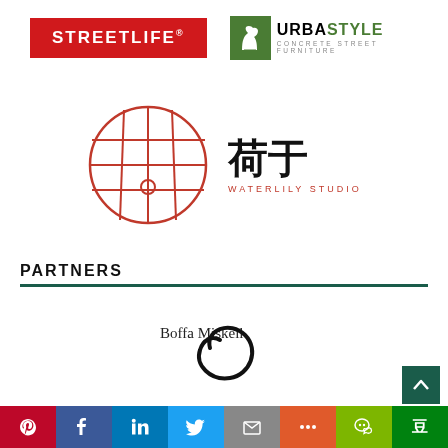[Figure (logo): Streetlife red rectangular logo with white text]
[Figure (logo): Urbastyle logo with green icon and text: URBASTYLE CONCRETE STREET FURNITURE]
[Figure (logo): Waterlily Studio logo with red circular grid icon and Chinese characters 荷于]
PARTNERS
[Figure (logo): Boffa Miskell logo with circular swoosh]
[Figure (other): Social sharing bar with Pinterest, Facebook, LinkedIn, Twitter, Email, More, WeChat, Douban buttons]